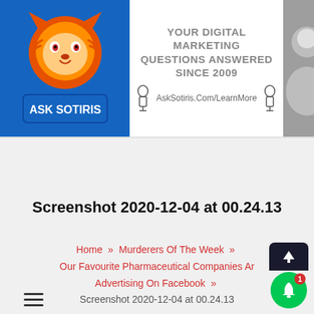[Figure (logo): Ask Sotiris logo with tiger mascot on blue background, and banner text 'YOUR DIGITAL MARKETING QUESTIONS ANSWERED SINCE 2009', with website AskSotiris.Com/LearnMore and a photo of a man in a blue shirt]
[Figure (other): Hamburger menu icon (three horizontal lines)]
Screenshot 2020-12-04 at 00.24.13
Home » Murderers Of The Week » Our Favourite Pharmaceutical Companies Are Advertising On Facebook » Screenshot 2020-12-04 at 00.24.13
[Figure (other): Dark notification widget with up arrow and green bell button with badge showing 1]